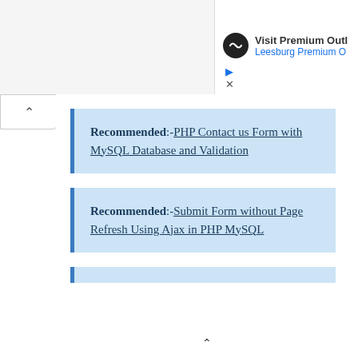[Figure (screenshot): Ad banner partially visible: circular dark logo icon with infinity-like symbol, text 'Visit Premium Outl...' in bold and 'Leesburg Premium O...' in blue, with play and close (X) icons below.]
Recommended:-PHP Contact us Form with MySQL Database and Validation
Recommended:-Submit Form without Page Refresh Using Ajax in PHP MySQL